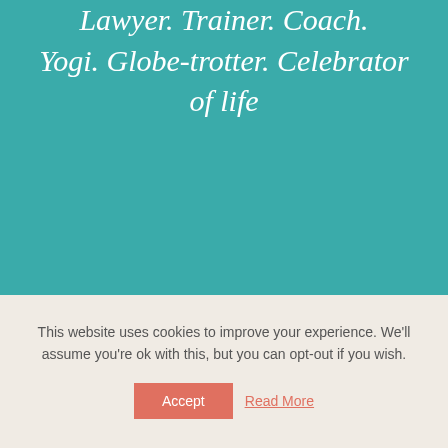Lawyer. Trainer. Coach. Yogi. Globe-trotter. Celebrator of life
This website uses cookies to improve your experience. We'll assume you're ok with this, but you can opt-out if you wish.